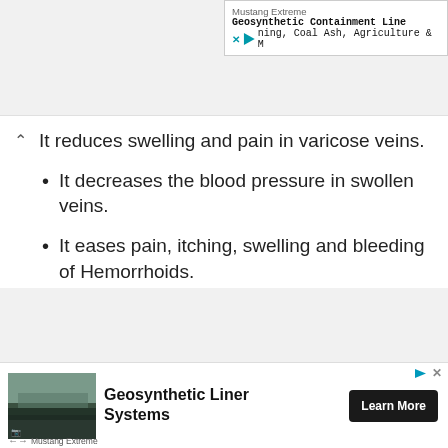[Figure (screenshot): Top advertisement banner for Mustang Extreme Geosynthetic Containment Liner products for Mining, Coal Ash, Agriculture]
It reduces swelling and pain in varicose veins.
It decreases the blood pressure in swollen veins.
It eases pain, itching, swelling and bleeding of Hemorrhoids.
Herbal teas help to eases discomfort of
[Figure (screenshot): Bottom advertisement banner for Geosynthetic Liner Systems by Mustang Extreme with Learn More button]